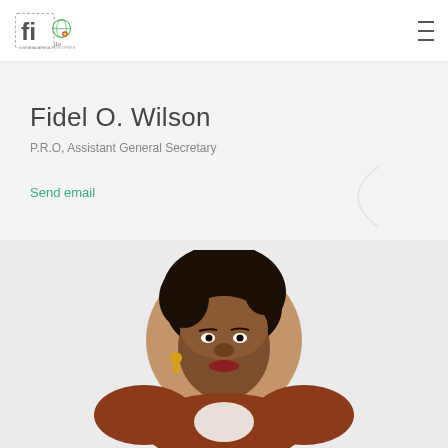FIDO logo and navigation menu
Fidel O. Wilson
P.R.O, Assistant General Secretary
Send email
[Figure (photo): Portrait photo of Fidel O. Wilson, a woman wearing a dark headwrap, earrings, and a necklace, shown from shoulders up against a light background]